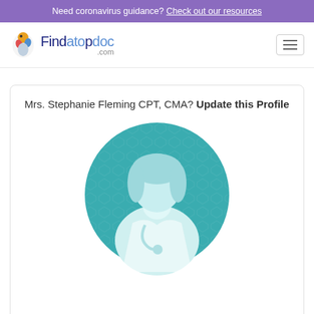Need coronavirus guidance? Check out our resources
[Figure (logo): Findatopdoc.com logo with a colorful bird icon]
Mrs. Stephanie Fleming CPT, CMA? Update this Profile
[Figure (illustration): Generic female doctor silhouette avatar in teal circle]